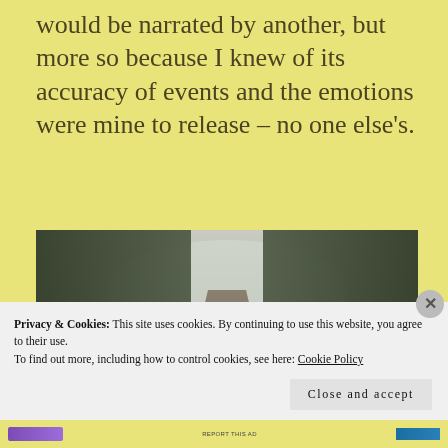would be narrated by another, but more so because I knew of its accuracy of events and the emotions were mine to release – no one else's.
[Figure (photo): A foggy forest road lined with tall trees and dry grass, with an overlaid quote: 'Daring to set boundaries is about having the courage to love ourselves, even when we risk disappointing others.' with a small red attribution tag at the bottom.]
Privacy & Cookies: This site uses cookies. By continuing to use this website, you agree to their use.
To find out more, including how to control cookies, see here: Cookie Policy
Close and accept